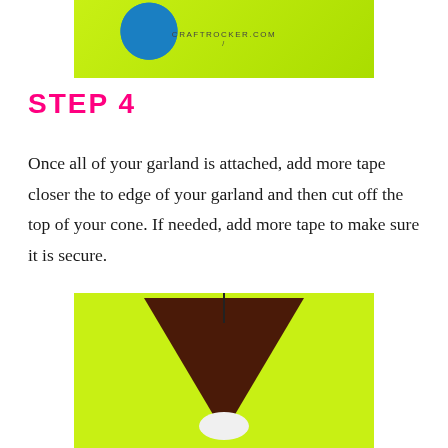[Figure (photo): Top portion of a craft tutorial photo showing a green background with blue tape roll and a person's hand/wrist. Watermark reads CRAFTROCKER.COM.]
STEP 4
Once all of your garland is attached, add more tape closer the to edge of your garland and then cut off the top of your cone. If needed, add more tape to make sure it is secure.
[Figure (photo): Bottom craft tutorial photo showing a dark brown cone shape against a bright yellow-green background, with white fluffy material at the base of the cone.]